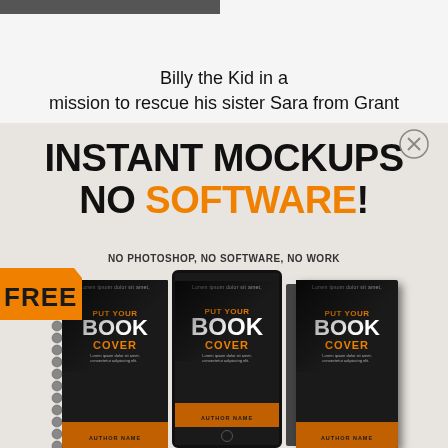Billy the Kid in a mission to rescue his sister Sara from Grant
[Figure (illustration): Advertisement banner for instant book mockup tool. Shows text 'INSTANT MOCKUPS NO SOFTWARE! NO PHOTOSHOP, NO SOFTWARE, NO WORK' with a FREE badge and three book cover mockups (spiral notebook, tablet, hardcover) each showing placeholder 'PUT YOUR BOOK COVER' text with 'AUTHOR NAME' at the bottom.]
INSTANT MOCKUPS NO SOFTWARE! NO PHOTOSHOP, NO SOFTWARE, NO WORK